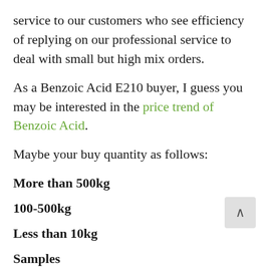service to our customers who see efficiency of replying on our professional service to deal with small but high mix orders.
As a Benzoic Acid E210 buyer, I guess you may be interested in the price trend of Benzoic Acid.
Maybe your buy quantity as follows:
More than 500kg
100-500kg
Less than 10kg
Samples
We're open to talk, we understand various customers have various demand. Please just let us know the